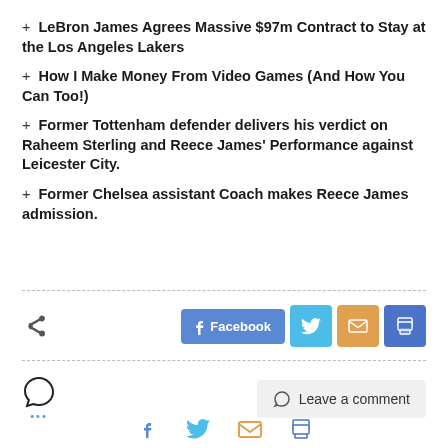+ LeBron James Agrees Massive $97m Contract to Stay at the Los Angeles Lakers
+ How I Make Money From Video Games (And How You Can Too!)
+ Former Tottenham defender delivers his verdict on Raheem Sterling and Reece James' Performance against Leicester City.
+ Former Chelsea assistant Coach makes Reece James admission.
[Figure (other): Share row with share icon, Facebook button, Twitter button, email button, and print button]
[Figure (other): Comment row with comment icon, dots, and Leave a comment button, plus bottom social icons]